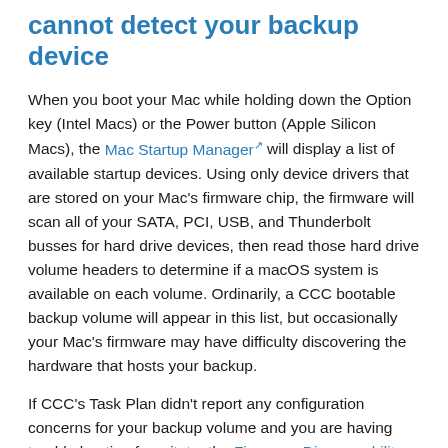cannot detect your backup device
When you boot your Mac while holding down the Option key (Intel Macs) or the Power button (Apple Silicon Macs), the Mac Startup Manager will display a list of available startup devices. Using only device drivers that are stored on your Mac's firmware chip, the firmware will scan all of your SATA, PCI, USB, and Thunderbolt busses for hard drive devices, then read those hard drive volume headers to determine if a macOS system is available on each volume. Ordinarily, a CCC bootable backup volume will appear in this list, but occasionally your Mac's firmware may have difficulty discovering the hardware that hosts your backup.
If CCC's Task Plan didn't report any configuration concerns for your backup volume and you are having trouble booting from it, try the Firmware Discoverability Troubleshooting steps below.